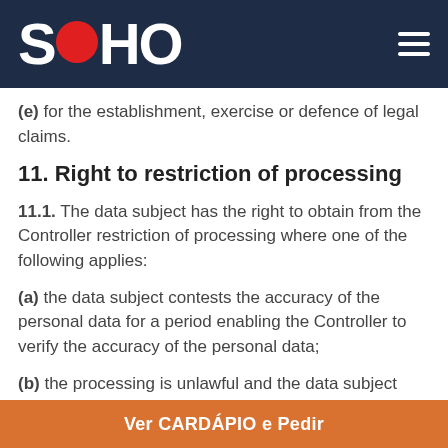SOHO
(e) for the establishment, exercise or defence of legal claims.
11. Right to restriction of processing
11.1. The data subject has the right to obtain from the Controller restriction of processing where one of the following applies:
(a) the data subject contests the accuracy of the personal data for a period enabling the Controller to verify the accuracy of the personal data;
(b) the processing is unlawful and the data subject opposes
Ver CARDÁPIO e Pedir